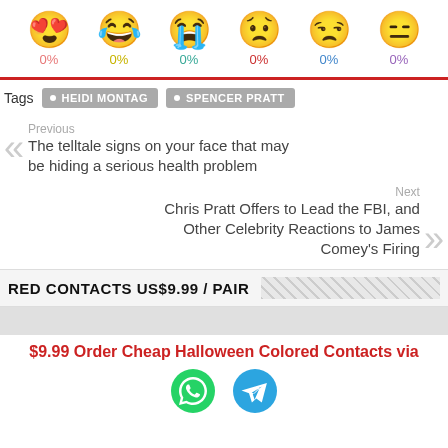[Figure (infographic): Six emoji reaction faces (heart-eyes, laughing with tears, crying, frowning/worried, sleepy/disappointed, neutral) each with 0% percentage labels in different colors (pink, yellow, teal, red, blue, purple)]
Tags  HEIDI MONTAG  SPENCER PRATT
Previous
The telltale signs on your face that may be hiding a serious health problem
Next
Chris Pratt Offers to Lead the FBI, and Other Celebrity Reactions to James Comey's Firing
RED CONTACTS US$9.99 / PAIR
$9.99 Order Cheap Halloween Colored Contacts via
[Figure (other): WhatsApp green circular icon and Telegram blue circular icon side by side]